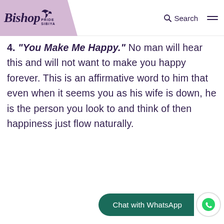Bishop Pride Sibiya — Search
4. "You Make Me Happy." No man will hear this and will not want to make you happy forever. This is an affirmative word to him that even when it seems you as his wife is down, he is the person you look to and think of then happiness just flow naturally.
Chat with WhatsApp